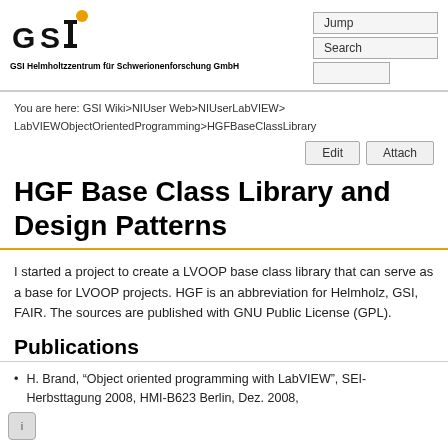[Figure (logo): GSI Helmholtzzentrum für Schwerionenforschung GmbH logo with orange dot and bold GSI letters]
Jump
Search
You are here: GSI Wiki>NIUser Web>NIUserLabVIEW>LabVIEWObjectOrientedProgramming>HGFBaseClassLibrary
Edit
Attach
HGF Base Class Library and Design Patterns
I started a project to create a LVOOP base class library that can serve as a base for LVOOP projects. HGF is an abbreviation for Helmholz, GSI, FAIR. The sources are published with GNU Public License (GPL).
Publications
H. Brand, “Object oriented programming with LabVIEW”, SEI-Herbsttagung 2008, HMI-B623 Berlin, Dez. 2008,